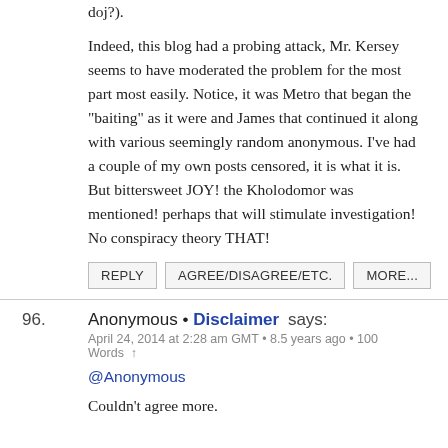doj?).
Indeed, this blog had a probing attack, Mr. Kersey seems to have moderated the problem for the most part most easily. Notice, it was Metro that began the "baiting" as it were and James that continued it along with various seemingly random anonymous. I've had a couple of my own posts censored, it is what it is. But bittersweet JOY! the Kholodomor was mentioned! perhaps that will stimulate investigation! No conspiracy theory THAT!
REPLY | AGREE/DISAGREE/ETC. | MORE...
96. Anonymous • Disclaimer says:
April 24, 2014 at 2:28 am GMT • 8.5 years ago • 100 Words ↑
@Anonymous

Couldn't agree more.

NAPA dysfunction (de communitee)may or may not be being controlled, that's not the point.